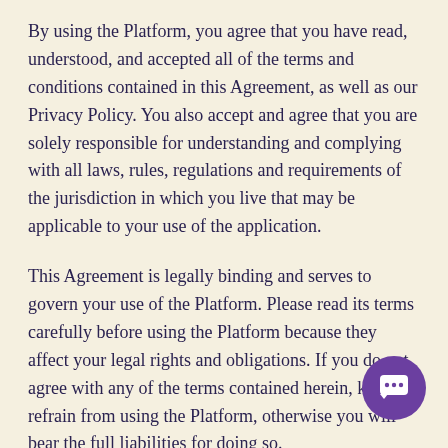By using the Platform, you agree that you have read, understood, and accepted all of the terms and conditions contained in this Agreement, as well as our Privacy Policy. You also accept and agree that you are solely responsible for understanding and complying with all laws, rules, regulations and requirements of the jurisdiction in which you live that may be applicable to your use of the application.
This Agreement is legally binding and serves to govern your use of the Platform. Please read its terms carefully before using the Platform because they affect your legal rights and obligations. If you do not agree with any of the terms contained herein, kindly refrain from using the Platform, otherwise you will bear the full liabilities for doing so.
Bundle reserves the right to update, revise, modify, or otherwise reissue these terms without prior notice. The